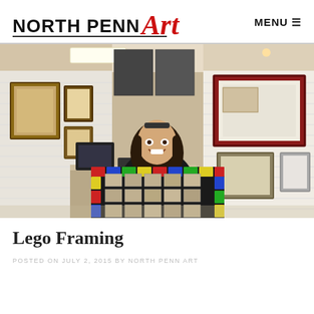NORTH PENN Art   MENU ☰
[Figure (photo): A smiling young woman with dark hair and sunglasses on her head holds up a large framed artwork bordered with colorful LEGO bricks. The background shows a framing shop with various framed artworks displayed on the walls.]
Lego Framing
POSTED ON JULY 2, 2015 BY NORTH PENN ART